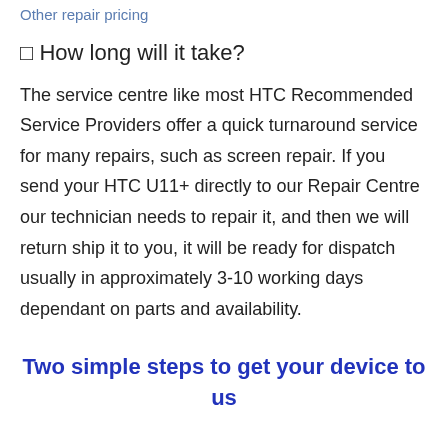Other repair pricing
⊙ How long will it take?
The service centre like most HTC Recommended Service Providers offer a quick turnaround service for many repairs, such as screen repair. If you send your HTC U11+ directly to our Repair Centre our technician needs to repair it, and then we will return ship it to you, it will be ready for dispatch usually in approximately 3-10 working days dependant on parts and availability.
Two simple steps to get your device to us